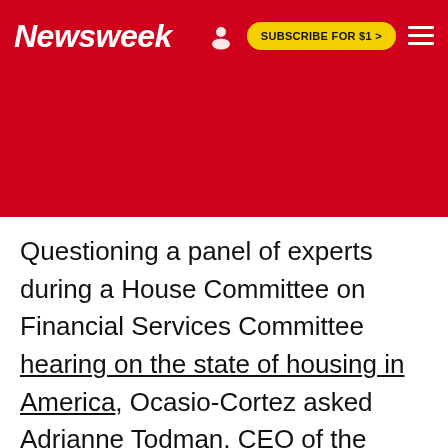Newsweek | SUBSCRIBE FOR $1 >
Questioning a panel of experts during a House Committee on Financial Services Committee hearing on the state of housing in America, Ocasio-Cortez asked Adrianne Todman, CEO of the National Association of Housing and Redevelopment Officials, whether she agreed that trying to make repairs to a home "after 20